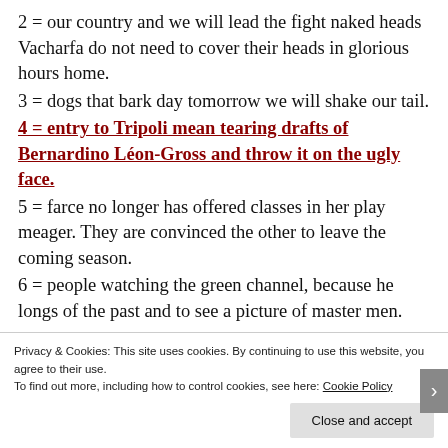2 = our country and we will lead the fight naked heads Vacharfa do not need to cover their heads in glorious hours home.
3 = dogs that bark day tomorrow we will shake our tail.
4 = entry to Tripoli mean tearing drafts of Bernardino Léon-Gross and throw it on the ugly face.
5 = farce no longer has offered classes in her play meager. They are convinced the other to leave the coming season.
6 = people watching the green channel, because he longs of the past and to see a picture of master men.
Privacy & Cookies: This site uses cookies. By continuing to use this website, you agree to their use. To find out more, including how to control cookies, see here: Cookie Policy
Close and accept